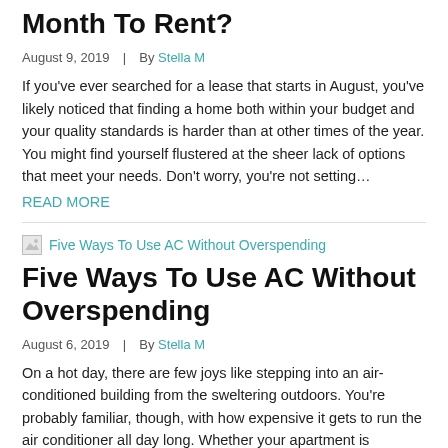Month To Rent?
August 9, 2019  |  By Stella M
If you've ever searched for a lease that starts in August, you've likely noticed that finding a home both within your budget and your quality standards is harder than at other times of the year. You might find yourself flustered at the sheer lack of options that meet your needs. Don't worry, you're not setting…
READ MORE
[Figure (photo): Thumbnail image for Five Ways To Use AC Without Overspending article]
Five Ways To Use AC Without Overspending
August 6, 2019  |  By Stella M
On a hot day, there are few joys like stepping into an air-conditioned building from the sweltering outdoors. You're probably familiar, though, with how expensive it gets to run the air conditioner all day long. Whether your apartment is powered by central air or window units, you